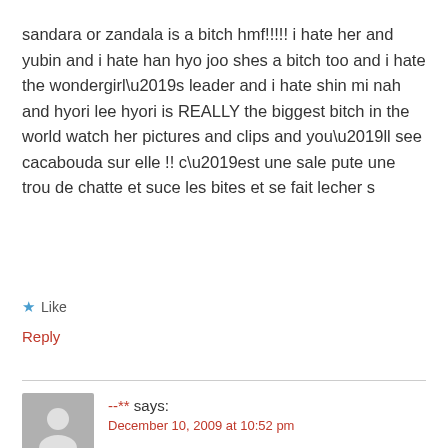sandara or zandala is a bitch hmf!!!!! i hate her and yubin and i hate han hyo joo shes a bitch too and i hate the wondergirl’s leader and i hate shin mi nah and hyori lee hyori is REALLY the biggest bitch in the world watch her pictures and clips and you’ll see cacabouda sur elle !! c’est une sale pute une trou de chatte et suce les bites et se fait lecher s
★ Like
Reply
--** says:
December 10, 2009 at 10:52 pm